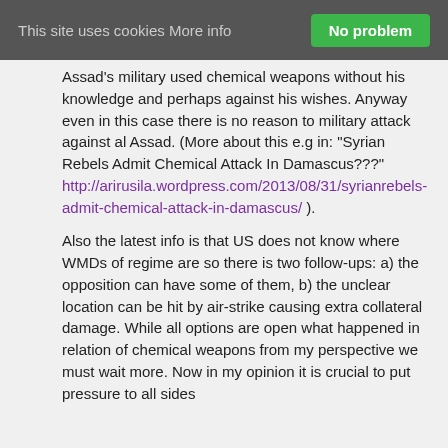This site uses cookies More info | No problem
Assad's military used chemical weapons without his knowledge and perhaps against his wishes. Anyway even in this case there is no reason to military attack against al Assad. (More about this e.g in: "Syrian Rebels Admit Chemical Attack In Damascus???" http://arirusila.wordpress.com/2013/08/31/syrian-rebels-admit-chemical-attack-in-damascus/ ).
Also the latest info is that US does not know where WMDs of regime are so there is two follow-ups: a) the opposition can have some of them, b) the unclear location can be hit by air-strike causing extra collateral damage. While all options are open what happened in relation of chemical weapons from my perspective we must wait more. Now in my opinion it is crucial to put pressure to all sides